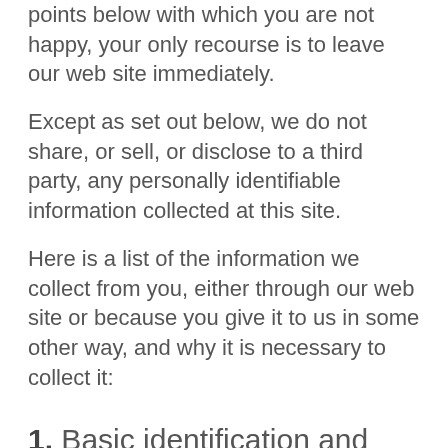points below with which you are not happy, your only recourse is to leave our web site immediately.
Except as set out below, we do not share, or sell, or disclose to a third party, any personally identifiable information collected at this site.
Here is a list of the information we collect from you, either through our web site or because you give it to us in some other way, and why it is necessary to collect it:
1. Basic identification and contact information